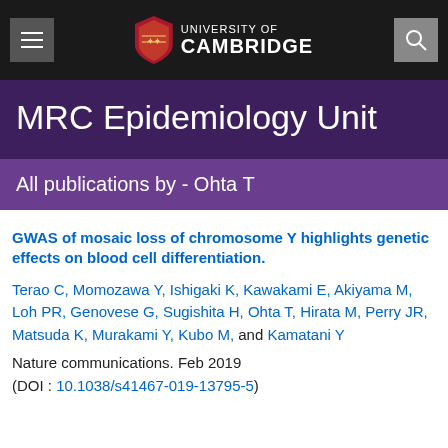[Figure (logo): University of Cambridge navigation bar with hamburger menu, Cambridge shield logo, and search icon on dark background]
MRC Epidemiology Unit
All publications by - Ohta T
GWAS of mosaic loss of chromosome Y highlights genetic effects on blood cell differentiation.
Terao C, Momozawa Y, Ishigaki K, Kawakami E, Akiyama M, Loh PR, Genovese G, Sugishita H, Ohta T, Hirata M, Perry JR, Matsuda K, Murakami Y, Kubo M, and Kamatani Y
Nature communications. Feb 2019
(DOI: 10.1038/s41467-019-13795-5)